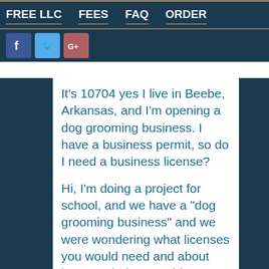FREE LLC   FEES   FAQ   ORDER
[Figure (other): Social media icons: Facebook (blue), Twitter (light blue), Google+ (red/brown)]
It's 10704 yes I live in Beebe, Arkansas, and I'm opening a dog grooming business. I have a business permit, so do I need a business license?
Hi, I'm doing a project for school, and we have a "dog grooming business" and we were wondering what licenses you would need and about how much they would cost yearly? Does Brunswick, Ga requires a short course for Pet Grooming Business? Ok, thanks, BUT DO I NEED A COURSE CERTIFIED IN PET GROOMING? Pet grooming - do I need a grooming license or certificate